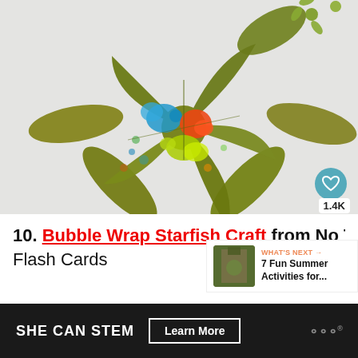[Figure (photo): A colorful bubble wrap painted starfish craft made from paper or cardboard, decorated with blue, orange, yellow-green paint blotches on a white background. Additional starfish shapes visible in upper right corner.]
10. Bubble Wrap Starfish Craft from No Time for Flash Cards
[Figure (photo): Small thumbnail photo for 'What's Next' section showing 7 Fun Summer Activities]
WHAT'S NEXT → 7 Fun Summer Activities for...
SHE CAN STEM  Learn More